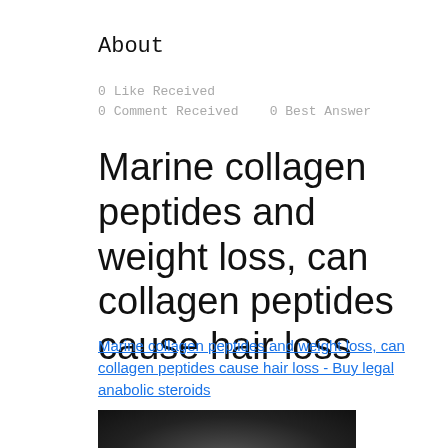About
0 Like Received
0 Comment Received    0 Best Answer
Marine collagen peptides and weight loss, can collagen peptides cause hair loss
Marine collagen peptides and weight loss, can collagen peptides cause hair loss - Buy legal anabolic steroids
[Figure (photo): Dark background image, mostly black with some blurred content visible at the bottom of the page]